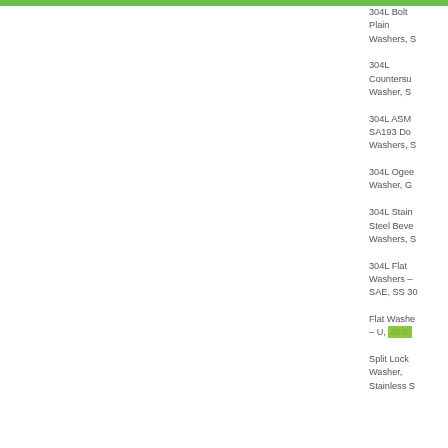304L Bolt Plain Washers, S
304L Countersunk Washer, S
304L ASM SA193 Double Washers, S
304L Ogee Washer, G
304L Stainless Steel Bevel Washers, S
304L Flat Washers – SAE, SS 30
Flat Washer – U, 304L
Split Lock Washer, Stainless S